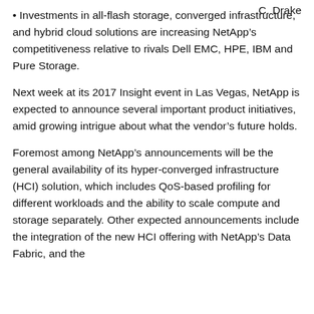C. Drake
Investments in all-flash storage, converged infrastructure, and hybrid cloud solutions are increasing NetApp's competitiveness relative to rivals Dell EMC, HPE, IBM and Pure Storage.
Next week at its 2017 Insight event in Las Vegas, NetApp is expected to announce several important product initiatives, amid growing intrigue about what the vendor's future holds.
Foremost among NetApp's announcements will be the general availability of its hyper-converged infrastructure (HCI) solution, which includes QoS-based profiling for different workloads and the ability to scale compute and storage separately. Other expected announcements include the integration of the new HCI offering with NetApp's Data Fabric, and the